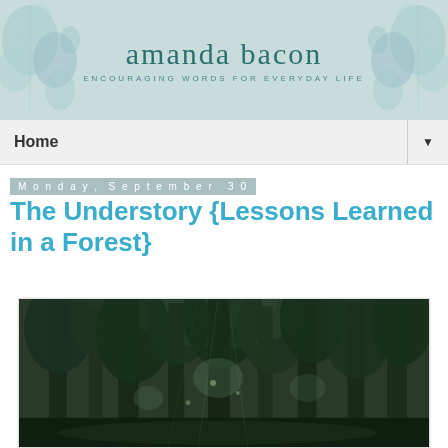amanda bacon — ENCOURAGING WORDS FOR EVERYDAY LIFE
Home
Monday, September 30
The Understory {Lessons Learned in a Forest}
[Figure (photo): A tall dense forest with large dark green conifer trees, light filtering through the canopy from above]